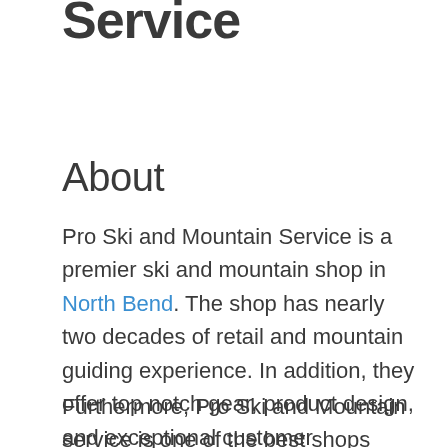Service
About
Pro Ski and Mountain Service is a premier ski and mountain shop in North Bend. The shop has nearly two decades of retail and mountain guiding experience. In addition, they offer top notch gear, product design, and exceptional customer experience. The employees all have on thing in common, they enjoy sharing their passion of the mountains with everyone that enters.
Furthermore, Pro Ski and Mountain service is one of the best shops near the Seattle area. The company offers info and training